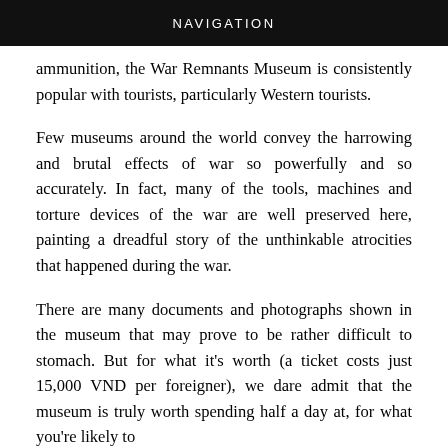NAVIGATION
ammunition, the War Remnants Museum is consistently popular with tourists, particularly Western tourists.
Few museums around the world convey the harrowing and brutal effects of war so powerfully and so accurately. In fact, many of the tools, machines and torture devices of the war are well preserved here, painting a dreadful story of the unthinkable atrocities that happened during the war.
There are many documents and photographs shown in the museum that may prove to be rather difficult to stomach. But for what it's worth (a ticket costs just 15,000 VND per foreigner), we dare admit that the museum is truly worth spending half a day at, for what you're likely to